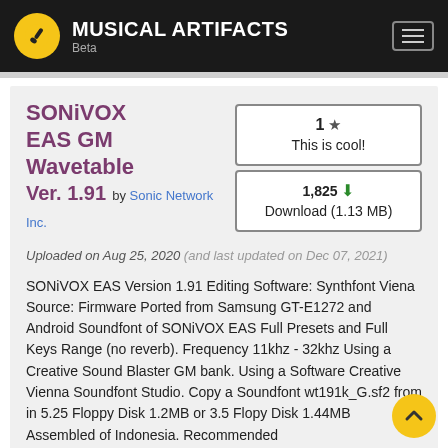MUSICAL ARTIFACTS Beta
SONiVOX EAS GM Wavetable Ver. 1.91 by Sonic Network Inc.
1 ★ This is cool!
1,825 ⬇ Download (1.13 MB)
Uploaded on Aug 25, 2020 (and last updated on Dec 07, 2021)
SONiVOX EAS Version 1.91 Editing Software: Synthfont Viena Source: Firmware Ported from Samsung GT-E1272 and Android Soundfont of SONiVOX EAS Full Presets and Full Keys Range (no reverb). Frequency 11khz - 32khz Using a Creative Sound Blaster GM bank. Using a Software Creative Vienna Soundfont Studio. Copy a Soundfont wt191k_G.sf2 from in 5.25 Floppy Disk 1.2MB or 3.5 Floppy Disk 1.44MB Assembled of Indonesia. Recommended Synthesizer Soft of Vienna (VBI13 other and BASSMIDI driver).